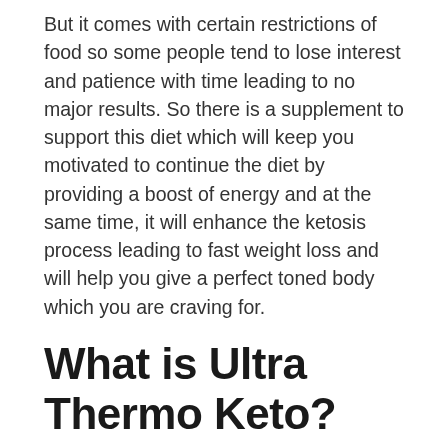But it comes with certain restrictions of food so some people tend to lose interest and patience with time leading to no major results. So there is a supplement to support this diet which will keep you motivated to continue the diet by providing a boost of energy and at the same time, it will enhance the ketosis process leading to fast weight loss and will help you give a perfect toned body which you are craving for.
What is Ultra Thermo Keto?
Ultra Thermo Keto New Zealand is also a permanent solution to the problem of the fat collection in the body. It helps to make the body free of all the unhealthy collection of cholesterol